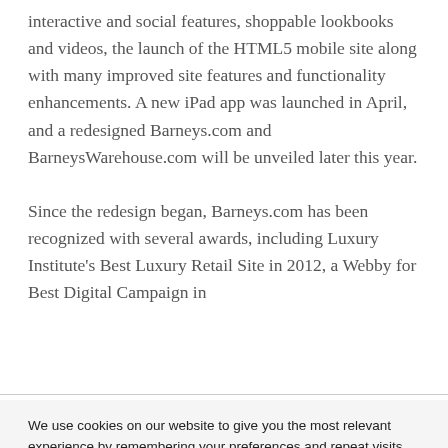interactive and social features, shoppable lookbooks and videos, the launch of the HTML5 mobile site along with many improved site features and functionality enhancements. A new iPad app was launched in April, and a redesigned Barneys.com and BarneysWarehouse.com will be unveiled later this year.

Since the redesign began, Barneys.com has been recognized with several awards, including Luxury Institute's Best Luxury Retail Site in 2012, a Webby for Best Digital Campaign in
We use cookies on our website to give you the most relevant experience by remembering your preferences and repeat visits. By clicking “Accept All”, you consent to the use of ALL the cookies. However, you may visit "Cookie Settings" to provide a controlled consent.